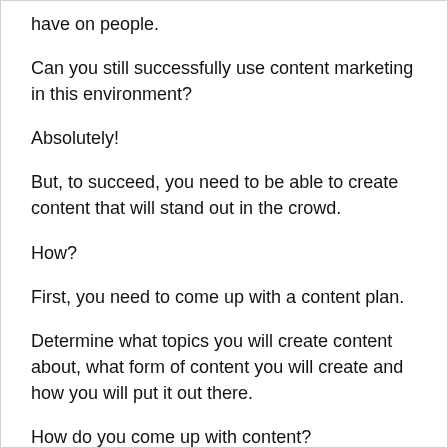have on people.
Can you still successfully use content marketing in this environment?
Absolutely!
But, to succeed, you need to be able to create content that will stand out in the crowd.
How?
First, you need to come up with a content plan.
Determine what topics you will create content about, what form of content you will create and how you will put it out there.
How do you come up with content?